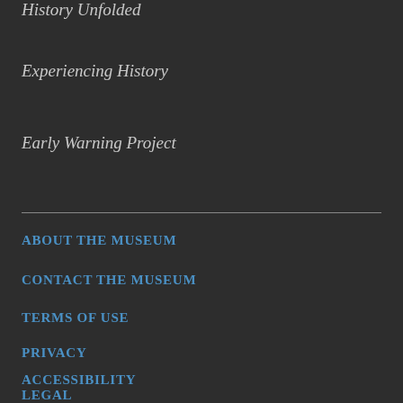History Unfolded
Experiencing History
Early Warning Project
ABOUT THE MUSEUM
CONTACT THE MUSEUM
TERMS OF USE
PRIVACY
ACCESSIBILITY
LEGAL